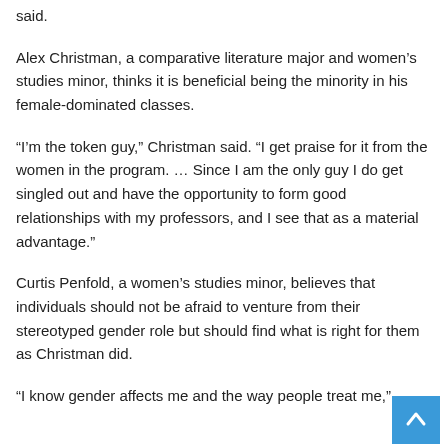said.
Alex Christman, a comparative literature major and women’s studies minor, thinks it is beneficial being the minority in his female-dominated classes.
“I’m the token guy,” Christman said. “I get praise for it from the women in the program. … Since I am the only guy I do get singled out and have the opportunity to form good relationships with my professors, and I see that as a material advantage.”
Curtis Penfold, a women’s studies minor, believes that individuals should not be afraid to venture from their stereotyped gender role but should find what is right for them as Christman did.
“I know gender affects me and the way people treat me,”